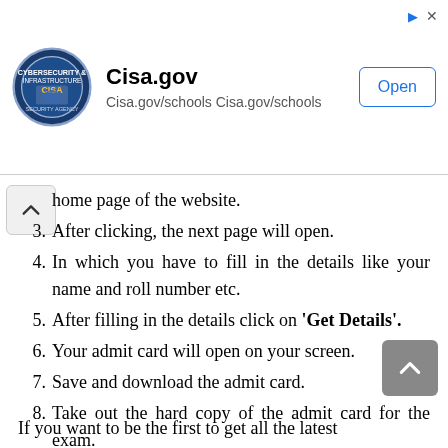[Figure (screenshot): CISA.gov advertisement banner with logo, site URL, and Open button]
home page of the website.
3. After clicking, the next page will open.
4. In which you have to fill in the details like your name and roll number etc.
5. After filling in the details click on 'Get Details'.
6. Your admit card will open on your screen.
7. Save and download the admit card.
8. Take out the hard copy of the admit card for the exam.
If you want to be the first to get all the latest